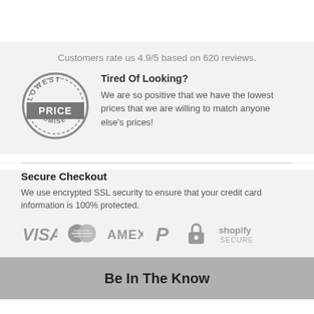Customers rate us 4.9/5 based on 620 reviews.
[Figure (illustration): Lowest Price Promise stamp/badge in grey with banner reading PRICE]
Tired Of Looking?
We are so positive that we have the lowest prices that we are willing to match anyone else's prices!
Secure Checkout
We use encrypted SSL security to ensure that your credit card information is 100% protected.
[Figure (logo): Payment method logos: VISA, Mastercard, AMEX, PayPal, padlock icon, Shopify Secure]
Be In The Know